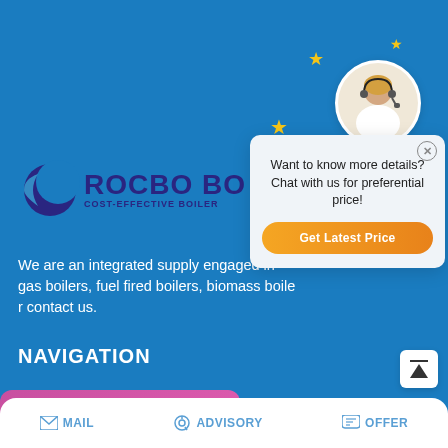[Figure (logo): Rocbo Boiler logo with crescent moon symbol and text ROCBO BOILER COST-EFFECTIVE BOILER]
We are an integrated supply engaged in gas boilers, fue fired boilers, biomass boiler contact us.
[Figure (infographic): Chat popup overlay with customer service representative avatar, stars decoration, text 'Want to know more details? Chat with us for preferential price!' and orange Get Latest Price button]
NAVIGATION
[Figure (screenshot): Save Stickers on WhatsApp banner with pink/purple gradient background, WhatsApp phone icon and emoji icon]
MAIL   ADVISORY   OFFER